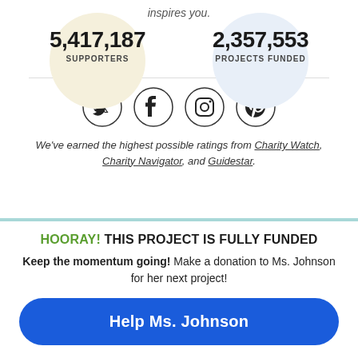inspires you.
5,417,187 SUPPORTERS
2,357,553 PROJECTS FUNDED
[Figure (infographic): Four social media icons in circles: Twitter, Facebook, Instagram, Pinterest]
We've earned the highest possible ratings from Charity Watch, Charity Navigator, and Guidestar.
HOORAY! THIS PROJECT IS FULLY FUNDED
Keep the momentum going! Make a donation to Ms. Johnson for her next project!
Help Ms. Johnson